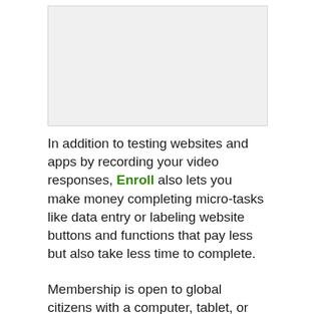[Figure (other): Image placeholder area at top of page]
In addition to testing websites and apps by recording your video responses, Enroll also lets you make money completing micro-tasks like data entry or labeling website buttons and functions that pay less but also take less time to complete.
Membership is open to global citizens with a computer, tablet, or mobile